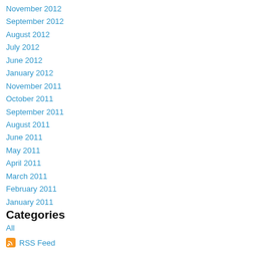November 2012
September 2012
August 2012
July 2012
June 2012
January 2012
November 2011
October 2011
September 2011
August 2011
June 2011
May 2011
April 2011
March 2011
February 2011
January 2011
Categories
All
RSS Feed